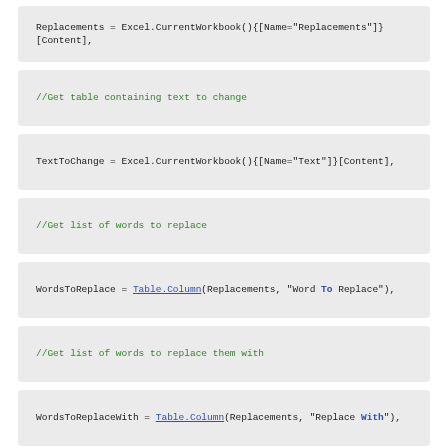Replacements = Excel.CurrentWorkbook(){[Name="Replacements"]}[Content],
//Get table containing text to change
TextToChange = Excel.CurrentWorkbook(){[Name="Text"]}[Content],
//Get list of words to replace
WordsToReplace = Table.Column(Replacements, "Word To Replace"),
//Get list of words to replace them with
WordsToReplaceWith = Table.Column(Replacements, "Replace With"),